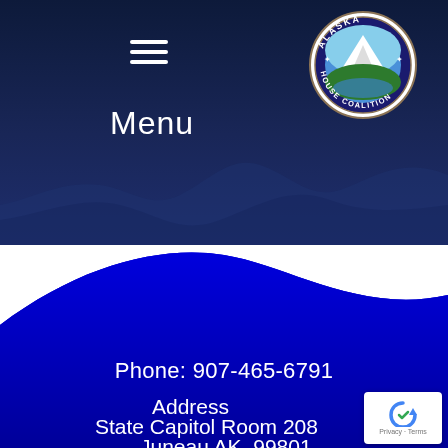Menu
[Figure (logo): Alaska House Coalition circular seal logo with mountains and nature imagery]
Phone: 907-465-6791
Address
State Capitol Room 208
Juneau AK, 99801
[Figure (other): Google reCAPTCHA badge with Privacy and Terms links]